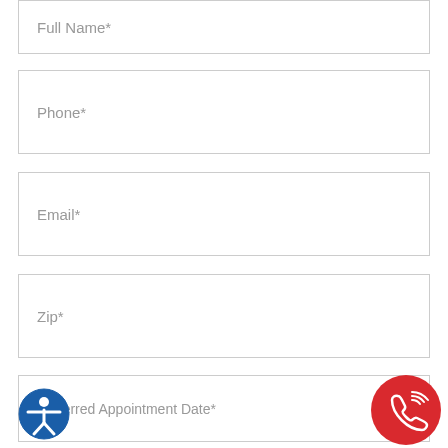Full Name*
Phone*
Email*
Zip*
Preferred Appointment Date*
Preferred Appointment Time*
[Figure (illustration): Blue circular accessibility icon with person figure, bottom left]
[Figure (illustration): Red circular phone call icon, bottom right]